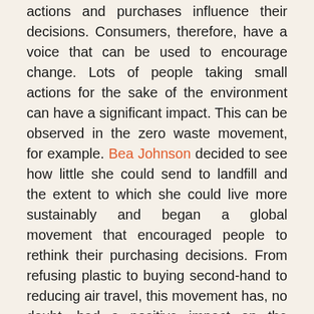actions and purchases influence their decisions. Consumers, therefore, have a voice that can be used to encourage change. Lots of people taking small actions for the sake of the environment can have a significant impact. This can be observed in the zero waste movement, for example. Bea Johnson decided to see how little she could send to landfill and the extent to which she could live more sustainably and began a global movement that encouraged people to rethink their purchasing decisions. From refusing plastic to buying second-hand to reducing air travel, this movement has, no doubt, had a positive impact on the environment.
Large companies such as Google, Starbucks, and L'Oreal have also observed this movement, while Johnson has delivered talks and consultancy services to these companies offering expertise...